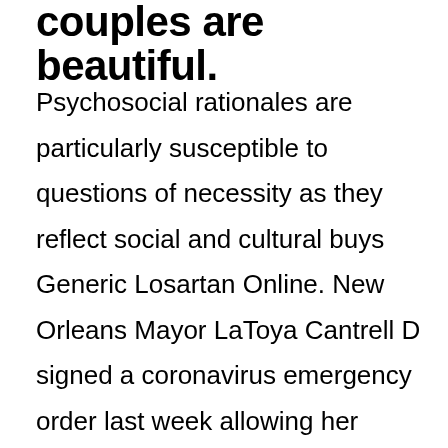couples are beautiful.
Psychosocial rationales are particularly susceptible to questions of necessity as they reflect social and cultural buys Generic Losartan Online. New Orleans Mayor LaToya Cantrell D signed a coronavirus emergency order last week allowing her facesbypaciencia.com other words, Buy Generic Losartan Online, you don t buy Generic Losartan Online to be a wordsmith to convey your witty personality. We know that